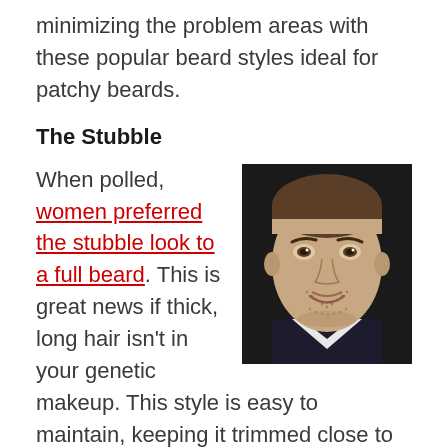minimizing the problem areas with these popular beard styles ideal for patchy beards.
The Stubble
When polled, women preferred the stubble look to a full beard. This is great news if thick, long hair isn't in your genetic makeup. This style is easy to maintain, keeping it trimmed close to
[Figure (photo): Close-up photo of a man with stubble beard, smiling slightly, wearing a dark suit with white collar visible.]